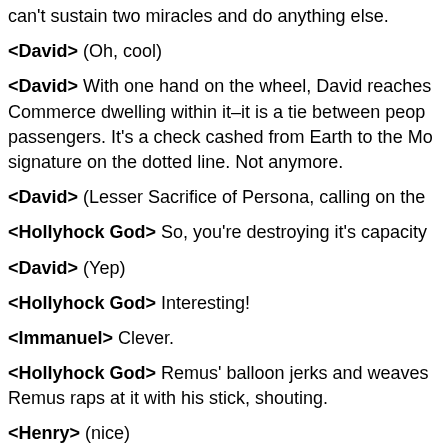can't sustain two miracles and do anything else.
<David> (Oh, cool)
<David> With one hand on the wheel, David reaches Commerce dwelling within it–it is a tie between peop passengers. It's a check cashed from Earth to the Mo signature on the dotted line. Not anymore.
<David> (Lesser Sacrifice of Persona, calling on the
<Hollyhock God> So, you're destroying it's capacity
<David> (Yep)
<Hollyhock God> Interesting!
<Immanuel> Clever.
<Hollyhock God> Remus' balloon jerks and weaves Remus raps at it with his stick, shouting.
<Henry> (nice)
<Hollyhock God> Something else...